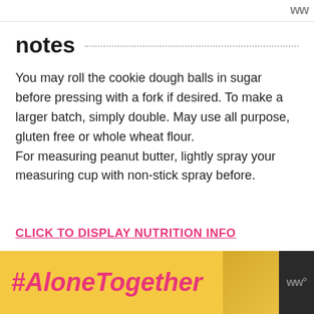notes
You may roll the cookie dough balls in sugar before pressing with a fork if desired. To make a larger batch, simply double. May use all purpose, gluten free or whole wheat flour.
For measuring peanut butter, lightly spray your measuring cup with non-stick spray before.
CLICK TO DISPLAY NUTRITION INFO
[Figure (infographic): #AloneTogether advertisement banner with yellow background, woman eating salad photo, close button, and WW logo]